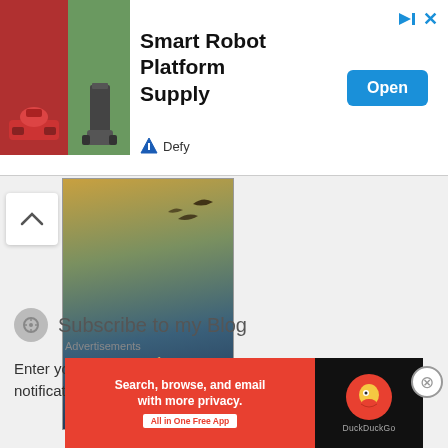[Figure (screenshot): Top advertisement banner for Smart Robot Platform Supply by Defy, showing robot images, Open button, and skip/close icons]
Smart Robot Platform Supply
[Figure (photo): Book cover: Chain of Iron - The Last Hours, by Cassandra Clare, Shadowhunters series]
Subscribe to my Blog
Enter your email address to follow this blog and receive notifications of new posts by email.
Advertisements
[Figure (screenshot): DuckDuckGo advertisement banner: Search, browse, and email with more privacy. All in One Free App]